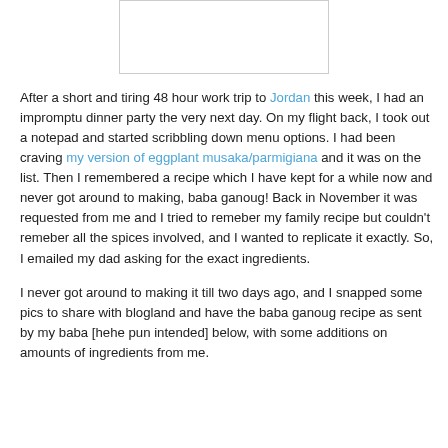[Figure (photo): Blank white rectangular image placeholder at top center of page]
After a short and tiring 48 hour work trip to Jordan this week, I had an impromptu dinner party the very next day. On my flight back, I took out a notepad and started scribbling down menu options. I had been craving my version of eggplant musaka/parmigiana and it was on the list. Then I remembered a recipe which I have kept for a while now and never got around to making, baba ganoug! Back in November it was requested from me and I tried to remeber my family recipe but couldn't remeber all the spices involved, and I wanted to replicate it exactly. So, I emailed my dad asking for the exact ingredients.
I never got around to making it till two days ago, and I snapped some pics to share with blogland and have the baba ganoug recipe as sent by my baba [hehe pun intended] below, with some additions on amounts of ingredients from me.